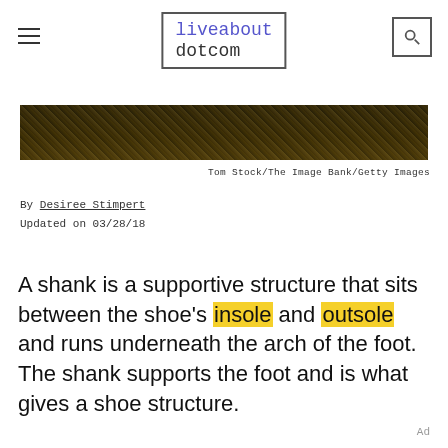liveabout dotcom
[Figure (photo): Partial photo strip showing a nature/floral scene, dark tones]
Tom Stock/The Image Bank/Getty Images
By Desiree Stimpert
Updated on 03/28/18
A shank is a supportive structure that sits between the shoe's insole and outsole and runs underneath the arch of the foot. The shank supports the foot and is what gives a shoe structure.
Ad